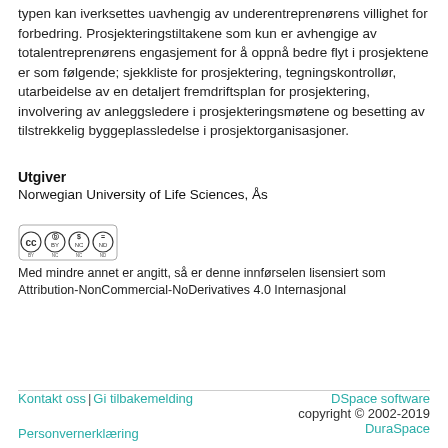typen kan iverksettes uavhengig av underentreprenørens villighet for forbedring. Prosjekteringstiltakene som kun er avhengige av totalentreprenørens engasjement for å oppnå bedre flyt i prosjektene er som følgende; sjekkliste for prosjektering, tegningskontrollør, utarbeidelse av en detaljert fremdriftsplan for prosjektering, involvering av anleggsledere i prosjekteringsmøtene og besetting av tilstrekkelig byggeplassledelse i prosjektorganisasjoner.
Utgiver
Norwegian University of Life Sciences, Ås
[Figure (logo): Creative Commons Attribution-NonCommercial-NoDerivatives license badge (CC BY NC ND)]
Med mindre annet er angitt, så er denne innførselen lisensiert som Attribution-NonCommercial-NoDerivatives 4.0 Internasjonal
Kontakt oss | Gi tilbakemelding   DSpace software copyright © 2002-2019   Personvernerklæring   DuraSpace